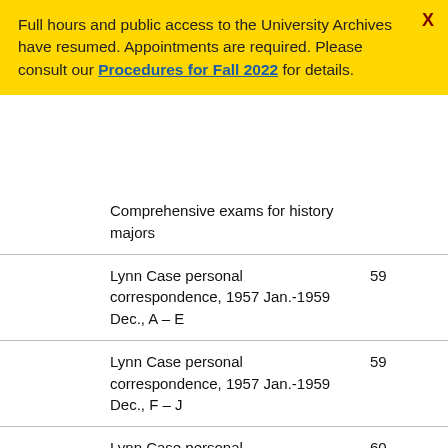Full hours and public access to the University Archives have resumed. Appointments are required. Please consult our Procedures for Fall 2022 for details.
| Description | Box |
| --- | --- |
| Comprehensive exams for history majors |  |
| Lynn Case personal correspondence, 1957 Jan.-1959 Dec., A – E | 59 |
| Lynn Case personal correspondence, 1957 Jan.-1959 Dec., F – J | 59 |
| Lynn Case personal correspondence, 1957 Jan.-1959 Dec., F – J | 60 |
| Lynn Case personal | 60 |